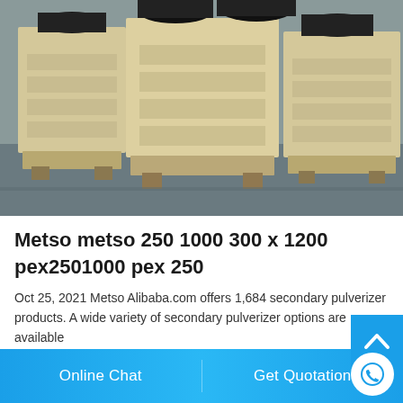[Figure (photo): Industrial jaw crusher machines in cream/beige color with black flywheels arranged in a factory floor setting]
Metso metso 250 1000 300 x 1200 pex2501000 pex 250
Oct 25, 2021 Metso Alibaba.com offers 1,684 secondary pulverizer products. A wide variety of secondary pulverizer options are available